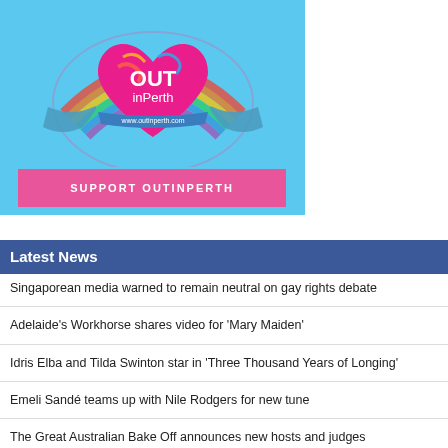[Figure (illustration): OUTinPerth logo advertisement: colorful rainbow heart on blue background with 'OUT inPerth www.outinperth.com' text, and a pink 'SUPPORT OUTinPERTH' button below]
Latest News
Singaporean media warned to remain neutral on gay rights debate
Adelaide's Workhorse shares video for 'Mary Maiden'
Idris Elba and Tilda Swinton star in 'Three Thousand Years of Longing'
Emeli Sandé teams up with Nile Rodgers for new tune
The Great Australian Bake Off announces new hosts and judges